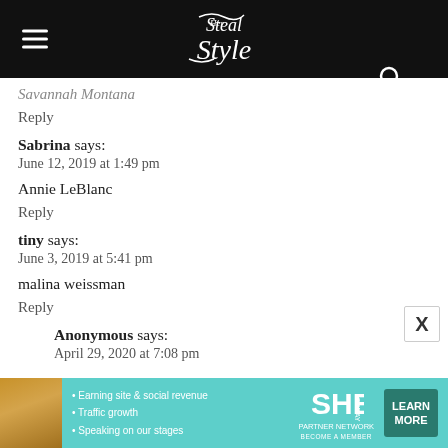Steal Her Style
Savannah Montana
Reply
Sabrina says:
June 12, 2019 at 1:49 pm
Annie LeBlanc
Reply
tiny says:
June 3, 2019 at 5:41 pm
malina weissman
Reply
Anonymous says:
April 29, 2020 at 7:08 pm
[Figure (infographic): SHE Partner Network advertisement banner with teal background, woman photo, bullet points about earning site & social revenue, traffic growth, speaking on our stages, SHE Today logo, and LEARN MORE button]